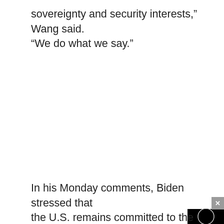sovereignty and security interests,” Wang said. “We do what we say.”
[Figure (screenshot): Embedded video player with black background and a circular loading/play indicator in the center, with an X close button in the top-right corner]
In his Monday comments, Biden stressed that the U.S. remains committed to the “One China policy, but that it doesn’t give China the right to forcefully take over the island.